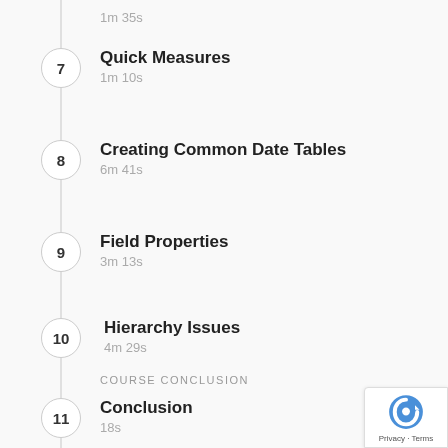1m 35s
7 Quick Measures
1m 10s
8 Creating Common Date Tables
6m 41s
9 Field Properties
3m 13s
10 Hierarchy Issues
4m 29s
COURSE CONCLUSION
11 Conclusion
18s